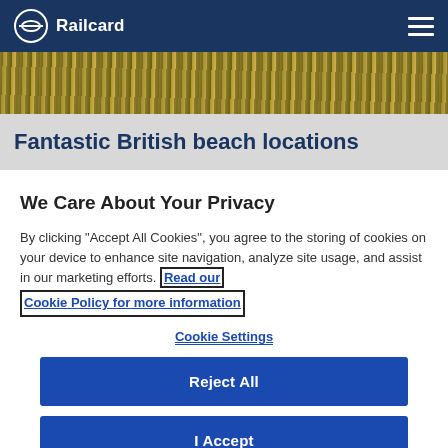Railcard
[Figure (photo): Partial view of coastal grassland/beach vegetation strip]
Fantastic British beach locations
We Care About Your Privacy
By clicking "Accept All Cookies", you agree to the storing of cookies on your device to enhance site navigation, analyze site usage, and assist in our marketing efforts. Read our Cookie Policy for more information
Cookie Settings
Reject All
I Accept